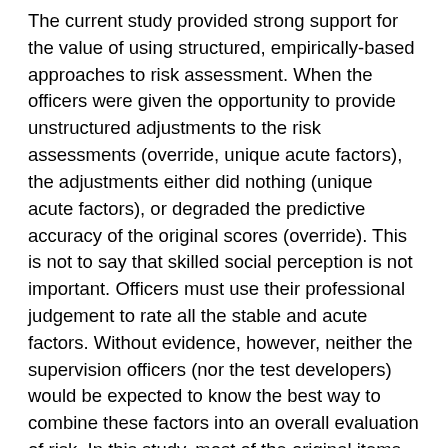The current study provided strong support for the value of using structured, empirically-based approaches to risk assessment. When the officers were given the opportunity to provide unstructured adjustments to the risk assessments (override, unique acute factors), the adjustments either did nothing (unique acute factors), or degraded the predictive accuracy of the original scores (override). This is not to say that skilled social perception is not important. Officers must use their professional judgement to rate all the stable and acute factors. Without evidence, however, neither the supervision officers (nor the test developers) would be expected to know the best way to combine these factors into an overall evaluation of risk. In this study, most of the original items were meaningfully related to recidivism risk, but, given basic data (score distributions, recidivism rates) it is possible to improve predictive accuracy through relatively minor changes in scoring and weighting schemes.
The last of...